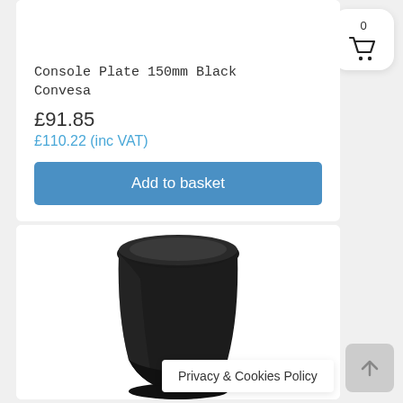[Figure (photo): Product image placeholder (white/empty top of card)]
Console Plate 150mm Black Convesa
£91.85
£110.22 (inc VAT)
Add to basket
[Figure (photo): Black cylindrical console plate / flue pipe adapter product photo on white background]
Privacy & Cookies Policy